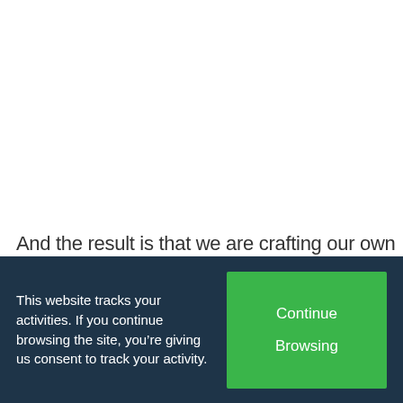And the result is that we are crafting our own
This website tracks your activities. If you continue browsing the site, you’re giving us consent to track your activity.
Continue Browsing